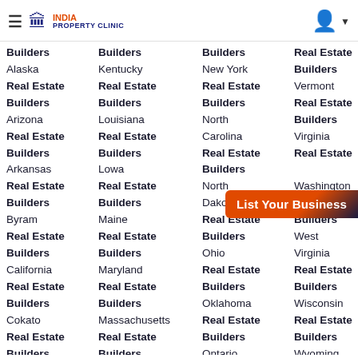India Property Clinic
Builders Alaska Real Estate Builders
Builders Kentucky Real Estate Builders
Builders New York Real Estate Builders
Real Estate Builders Vermont Real Estate Builders
Arizona Real Estate Builders
Louisiana Real Estate Builders
North Carolina Real Estate Builders
Virginia Real Estate
Arkansas Real Estate Builders
Lowa Real Estate Builders
Builders North Dakota Real Estate Builders
Washington Real Estate Builders
Byram Real Estate Builders
Maine Real Estate Builders
Real Estate Builders Ohio Real Estate Builders
West Virginia Real Estate Builders
California Real Estate Builders
Maryland Real Estate Builders
Oklahoma Real Estate Builders
Wisconsin Real Estate Builders
Cokato Real Estate Builders
Massachusetts Real Estate Builders
Ontario Real Estate
Wyoming Real Estate
Colorado
Medfield
Real Estate
Real Estate